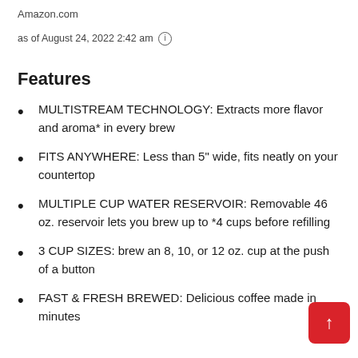Amazon.com
as of August 24, 2022 2:42 am ⓘ
Features
MULTITISTREAM TECHNOLOGY: Extracts more flavor and aroma* in every brew
FITS ANYWHERE: Less than 5" wide, fits neatly on your countertop
MULTIPLE CUP WATER RESERVOIR: Removable 46 oz. reservoir lets you brew up to *4 cups before refilling
3 CUP SIZES: brew an 8, 10, or 12 oz. cup at the push of a button
FAST & FRESH BREWED: Delicious coffee made in minutes